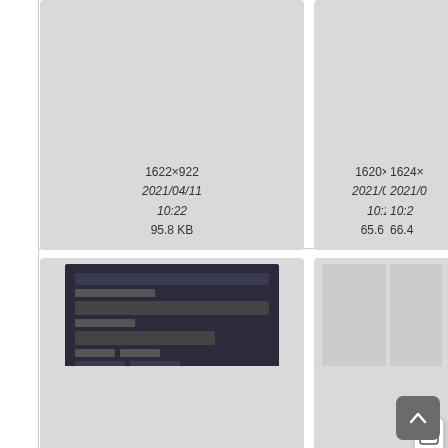[Figure (screenshot): File grid thumbnail card: 1622×922, 2021/04/11 10:22, 95.8 KB]
[Figure (screenshot): File grid thumbnail card: 1620×658, 2021/04/11 10:22, 65.6 KB]
[Figure (screenshot): File grid thumbnail card: 1624×..., 2021/04/..., 66.4 KB (partially visible)]
[Figure (screenshot): File grid thumbnail card with dark-theme form screenshot: new_portal..., 1360×1178, 2021/04/11 10:25, 71.9 KB]
[Figure (screenshot): File grid thumbnail card: new_portal..., 1380×814, 2021/04/11 10:18, 46.6 KB]
[Figure (screenshot): File grid thumbnail card: new_..., partially visible with context menu, 50.3 KB]
[Figure (screenshot): Three partial file grid thumbnail cards at bottom row, mostly empty gray]
[Figure (screenshot): Context menu with icons: edit, link, document, puzzle pieces]
[Figure (screenshot): Scroll-to-top button (dark rounded square with upward chevron)]